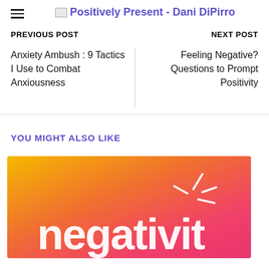Positively Present - Dani DiPirro
PREVIOUS POST
NEXT POST
Anxiety Ambush : 9 Tactics I Use to Combat Anxiousness
Feeling Negative? Questions to Prompt Positivity
YOU MIGHT ALSO LIKE
[Figure (illustration): Gradient image from orange-yellow to pink with white handwritten text reading 'negativit...' (partially cropped)]